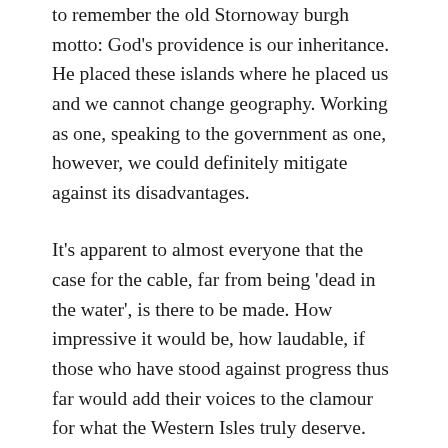to remember the old Stornoway burgh motto: God's providence is our inheritance. He placed these islands where he placed us and we cannot change geography. Working as one, speaking to the government as one, however, we could definitely mitigate against its disadvantages.
It's apparent to almost everyone that the case for the cable, far from being 'dead in the water', is there to be made. How impressive it would be, how laudable, if those who have stood against progress thus far would add their voices to the clamour for what the Western Isles truly deserve.
Coinneach Odhar's final prophecy was the desolation of his master's broad lands, and the destruction of his line. I can't – despite much evidence to the contrary – believe